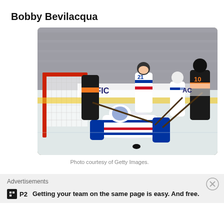Bobby Bevilacqua
[Figure (photo): NHL hockey game action photo showing New York Rangers goalie and players defending against Anaheim Ducks players near the goal, with the puck visible on the ice. Players visible include Rangers #21 and Ducks #10. Arena crowd visible in background.]
Photo courtesy of Getty Images.
Advertisements
Getting your team on the same page is easy. And free.